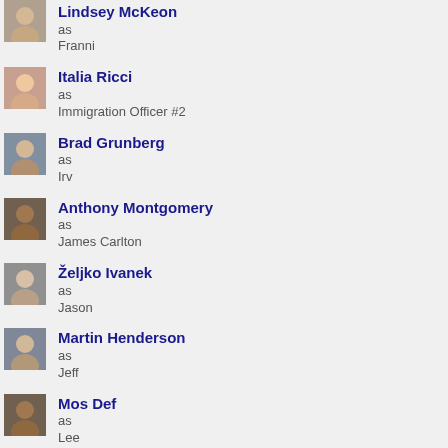Lindsey McKeon as Franni
Italia Ricci as Immigration Officer #2
Brad Grunberg as Irv
Anthony Montgomery as James Carlton
Željko Ivanek as Jason
Martin Henderson as Jeff
Mos Def as Lee